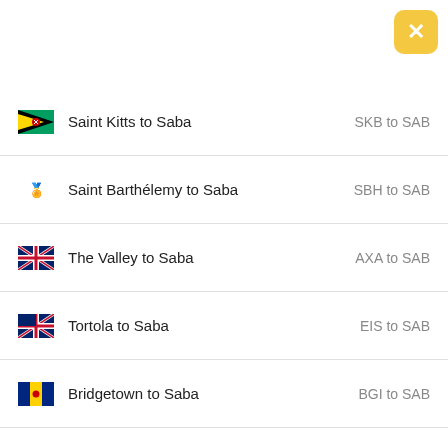[Figure (other): Close button (X) in yellow/gold rounded square, top right corner]
Saint Kitts to Saba — SKB to SAB
Saint Barthélemy to Saba — SBH to SAB
The Valley to Saba — AXA to SAB
Tortola to Saba — EIS to SAB
Bridgetown to Saba — BGI to SAB
San Juan to Saba — SJU to SAB
Port of Spain to Saba — POS to SAB
Santo Domingo to Saba — SDQ to SAB
Willemstad, Curaçao to Saba — CUR to SAB
Santo Domingo to Saba — JBQ to SAB